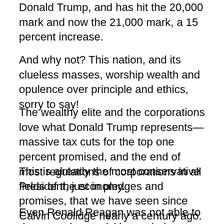Donald Trump, and has hit the 20,000 mark and now the 21,000 mark, a 15 percent increase.
And why not? This nation, and its clueless masses, worship wealth and opulence over principle and ethics, sorry to say!
The wealthy elite and the corporations love what Donald Trump represents—massive tax cuts for the top one percent promised, and the end of most regulations of corporations in all fields of the economy.
This is already the most conservative President, just in pledges and promises, that we have seen since Calvin Coolidge nearly a century ago.
Even Ronald Reagan was not able to do so much so quickly, or pledge to do, as Donald Trump has